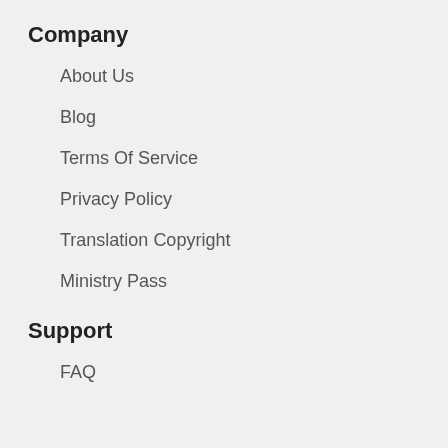Company
About Us
Blog
Terms Of Service
Privacy Policy
Translation Copyright
Ministry Pass
Support
FAQ